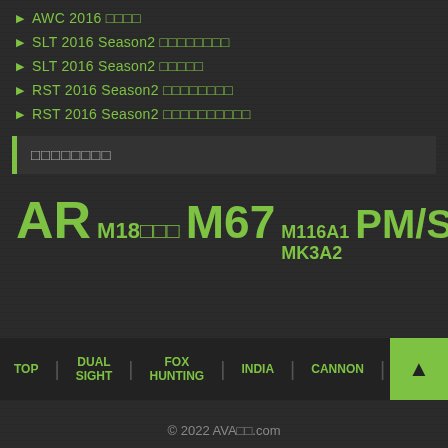▶ AWC 2016 □□□□
▶ SLT 2016 Season2 □□□□□□□□
▶ SLT 2016 Season2 □□□□□
▶ RST 2016 Season2 □□□□□□□□
▶ RST 2016 Season2 □□□□□□□□□□
□□□□□□□□
[Figure (infographic): Tag cloud showing weapon categories: AR (large), M18□□□ (medium), M67 (large), M116A1 MK3A2 (small), PM/SR (large)]
TOP | DUAL SIGHT | FOX HUNTING | INDIA | CANNON | AIRPLA
© 2022 AVA□□.com